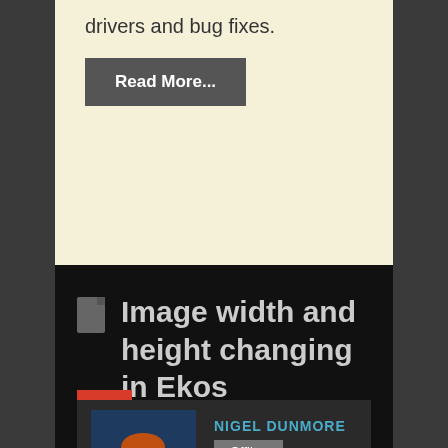drivers and bug fixes.
Read More...
Image width and height changing in Ekos
1
NIGEL DUNMORE
Offline
Senior Member
TOPIC AUTHOR